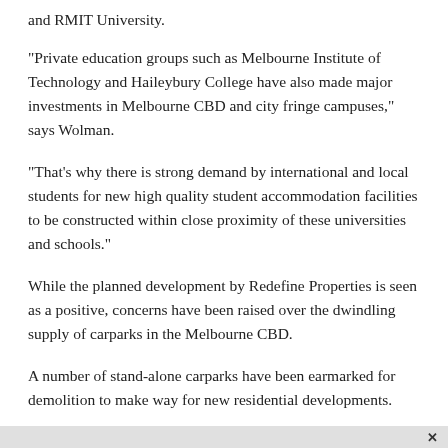and RMIT University.
"Private education groups such as Melbourne Institute of Technology and Haileybury College have also made major investments in Melbourne CBD and city fringe campuses," says Wolman.
"That’s why there is strong demand by international and local students for new high quality student accommodation facilities to be constructed within close proximity of these universities and schools."
While the planned development by Redefine Properties is seen as a positive, concerns have been raised over the dwindling supply of carparks in the Melbourne CBD.
A number of stand-alone carparks have been earmarked for demolition to make way for new residential developments.
Proposed on-street parking limits by Melbourne City Council are also adding to price pressures for motorists.